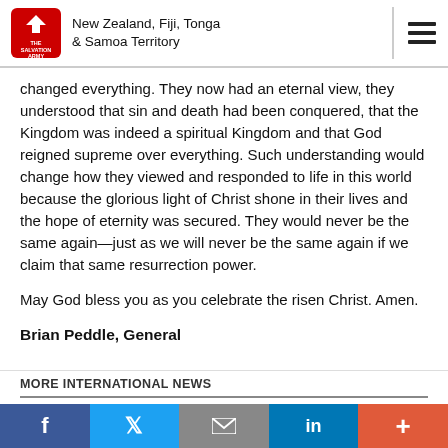New Zealand, Fiji, Tonga & Samoa Territory
changed everything. They now had an eternal view, they understood that sin and death had been conquered, that the Kingdom was indeed a spiritual Kingdom and that God reigned supreme over everything. Such understanding would change how they viewed and responded to life in this world because the glorious light of Christ shone in their lives and the hope of eternity was secured. They would never be the same again—just as we will never be the same again if we claim that same resurrection power.
May God bless you as you celebrate the risen Christ. Amen.
Brian Peddle, General
MORE INTERNATIONAL NEWS
Social share bar: Facebook, Twitter, Email, LinkedIn, More